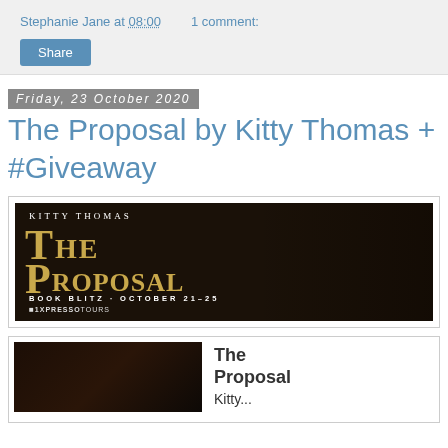Stephanie Jane at 08:00    1 comment:
Share
Friday, 23 October 2020
The Proposal by Kitty Thomas + #Giveaway
[Figure (illustration): Book blitz banner for 'The Proposal' by Kitty Thomas. Dark background with a woman in a blue dress. Gold text reads 'THE PROPOSAL'. Text: BOOK BLITZ · OCTOBER 21–25. Xpresso Tours logo at bottom.]
[Figure (illustration): Book cover for 'The Proposal' by Kitty Thomas, dark atmospheric image with a woman, partially visible at bottom of page.]
The Proposal Kitty...